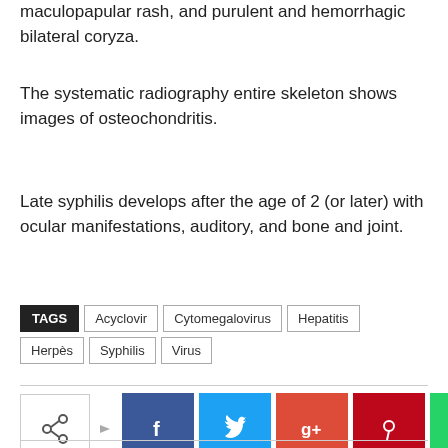maculopapular rash, and purulent and hemorrhagic bilateral coryza.
The systematic radiography entire skeleton shows images of osteochondritis.
Late syphilis develops after the age of 2 (or later) with ocular manifestations, auditory, and bone and joint.
TAGS: Acyclovir, Cytomegalovirus, Hepatitis, Herpès, Syphilis, Virus
[Figure (other): Social share buttons row with share icon, Facebook, Twitter, Google+, Pinterest, WhatsApp]